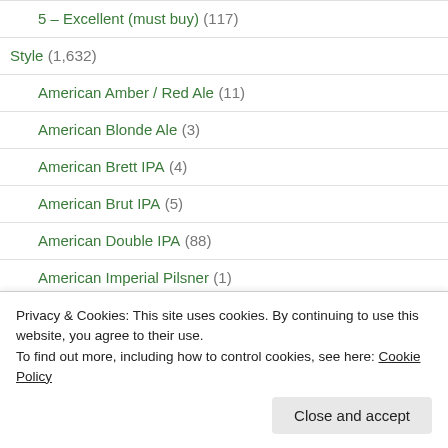5 – Excellent (must buy) (117)
Style (1,632)
American Amber / Red Ale (11)
American Blonde Ale (3)
American Brett IPA (4)
American Brut IPA (5)
American Double IPA (88)
American Imperial Pilsner (1)
American Imperial Porter (17)
Privacy & Cookies: This site uses cookies. By continuing to use this website, you agree to their use.
To find out more, including how to control cookies, see here: Cookie Policy
Close and accept